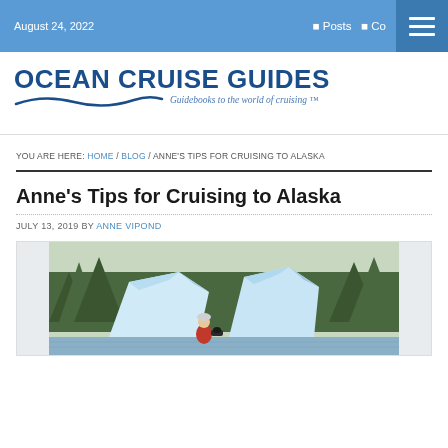August 24, 2022  Posts  Co
[Figure (logo): Ocean Cruise Guides logo with wave graphic and tagline 'Guidebooks to the world of cruising']
YOU ARE HERE: HOME / BLOG / ANNE'S TIPS FOR CRUISING TO ALASKA
Anne's Tips for Cruising to Alaska
JULY 13, 2019 BY ANNE VIPOND
[Figure (photo): Person standing between large blue-white icebergs on water with forested mountains in background, Alaska cruise scene]